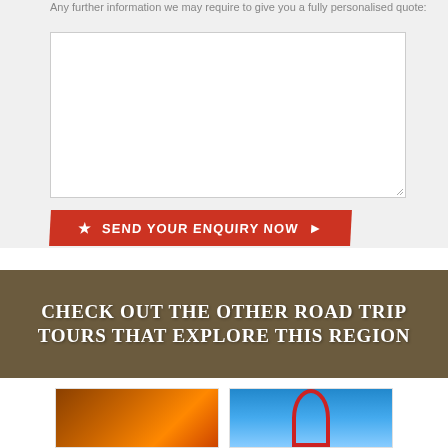Any further information we may require to give you a fully personalised quote:
[Figure (other): Empty textarea input field for personalised quote information]
[Figure (other): Red button with star icon and right arrow reading SEND YOUR ENQUIRY NOW]
[Figure (other): Brown wooden-texture banner with white text: CHECK OUT THE OTHER ROAD TRIP TOURS THAT EXPLORE THIS REGION]
[Figure (photo): Thumbnail image with orange warm tones, possibly food or lanterns]
[Figure (photo): Thumbnail image with blue background and red curved structure]